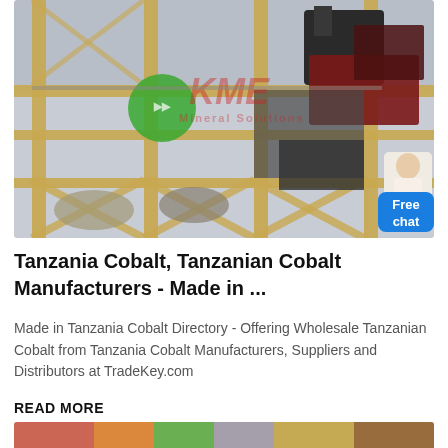[Figure (photo): Industrial mining equipment/machinery on a multi-level scaffold structure, with KME Mineral Solutions watermark and logo visible. A 'Free chat' blue button overlay is present in the bottom-right corner of the image.]
Tanzania Cobalt, Tanzanian Cobalt Manufacturers - Made in ...
Made in Tanzania Cobalt Directory - Offering Wholesale Tanzanian Cobalt from Tanzania Cobalt Manufacturers, Suppliers and Distributors at TradeKey.com
READ MORE
[Figure (photo): Partial view of another image at the bottom of the page (cropped).]